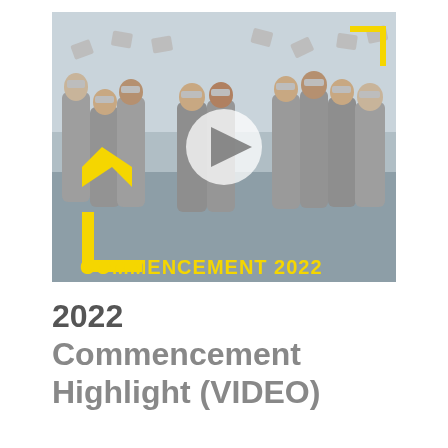[Figure (photo): A group of graduates in gray gowns celebrating outdoors, throwing caps, with a yellow geometric logo and text 'COMMENCEMENT 2022' overlaid on the image. A large circular white play button is centered on the image.]
2022 Commencement Highlight (VIDEO)